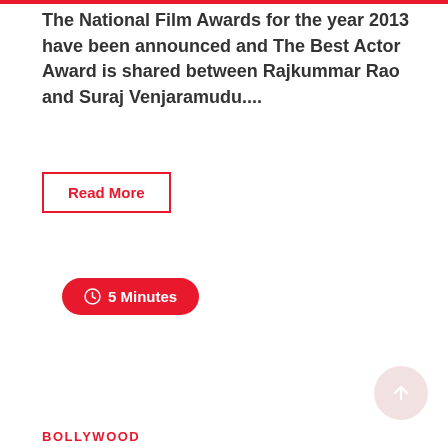The National Film Awards for the year 2013 have been announced and The Best Actor Award is shared between Rajkummar Rao and Suraj Venjaramudu....
Read More
5 Minutes
BOLLYWOOD